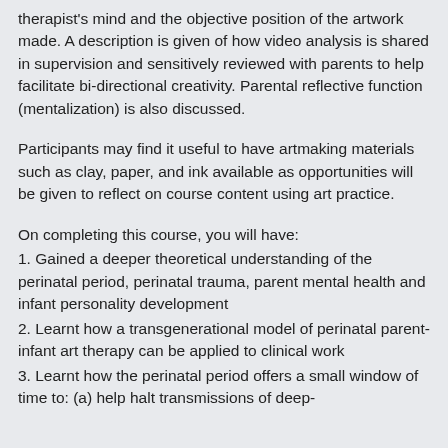therapist's mind and the objective position of the artwork made. A description is given of how video analysis is shared in supervision and sensitively reviewed with parents to help facilitate bi-directional creativity. Parental reflective function (mentalization) is also discussed.
Participants may find it useful to have artmaking materials such as clay, paper, and ink available as opportunities will be given to reflect on course content using art practice.
On completing this course, you will have:
1. Gained a deeper theoretical understanding of the perinatal period, perinatal trauma, parent mental health and infant personality development
2. Learnt how a transgenerational model of perinatal parent-infant art therapy can be applied to clinical work
3. Learnt how the perinatal period offers a small window of time to: (a) help halt transmissions of deep-